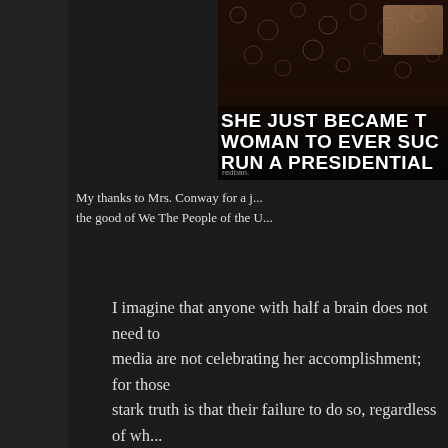[Figure (photo): A meme image showing text: 'SHE JUST BECAME THE WOMAN TO EVER SUC... RUN A PRESIDENTIAL...' with a decorative lace background and a watermark.]
My thanks to Mrs. Conway for a j... the good of We The People of the U...
I imagine that anyone with half a brain does not need to media are not celebrating her accomplishment; for those stark truth is that their failure to do so, regardless of wh... hypocrisy. The Democrat Party is supposedly the self pr... every other special interest group except the NRA, Chri... supporting legal as opposed to illegal immigration). The... was supposedly the champion of women. Leftists always